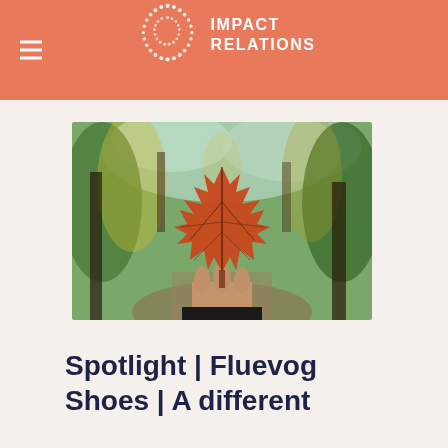IMPACT RELATIONS
[Figure (photo): A hand holding an orange autumn maple leaf against a bokeh background of a forest path with green and yellow-lit trees.]
Spotlight | Fluevog Shoes | A different